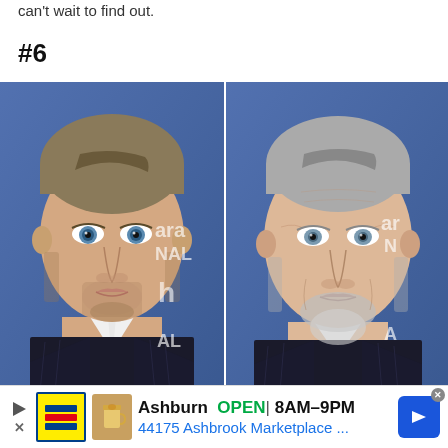can't wait to find out.
#6
[Figure (photo): Side-by-side comparison photo: left shows a younger man with dark blonde hair, light stubble/beard, blue eyes, wearing a dark pinstripe suit and white shirt, in front of a blue event backdrop with partially visible text 'ara' and 'NAL' and 'h' and 'AL'; right shows an older man with gray hair and gray beard, wearing a dark pinstripe suit and white shirt, same style blue event backdrop with partial text 'ar', 'N', 'A'.]
[Figure (screenshot): Advertisement banner for Lidl store: shows Lidl logo (yellow box with blue/red stripes), coffee cup icon, text 'Ashburn OPEN 8AM-9PM' and '44175 Ashbrook Marketplace ...' with a blue navigation arrow icon on the right. Play button and close X on the left.]